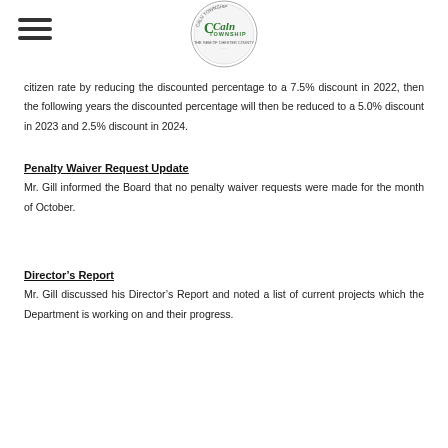Caln Township
citizen rate by reducing the discounted percentage to a 7.5% discount in 2022, then the following years the discounted percentage will then be reduced to a 5.0% discount in 2023 and 2.5% discount in 2024.
Penalty Waiver Request Update
Mr. Gill informed the Board that no penalty waiver requests were made for the month of October.
Director’s Report
Mr. Gill discussed his Director’s Report and noted a list of current projects which the Department is working on and their progress.